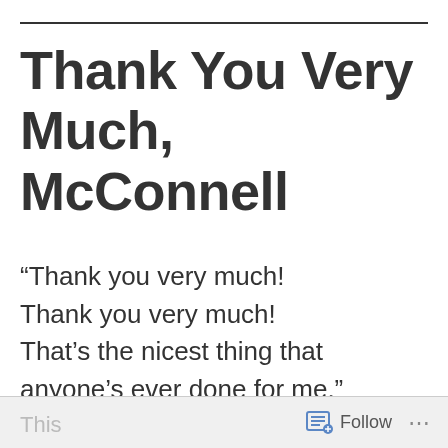Thank You Very Much, McConnell
“Thank you very much! Thank you very much! That’s the nicest thing that anyone’s ever done for me.”
Follow •••